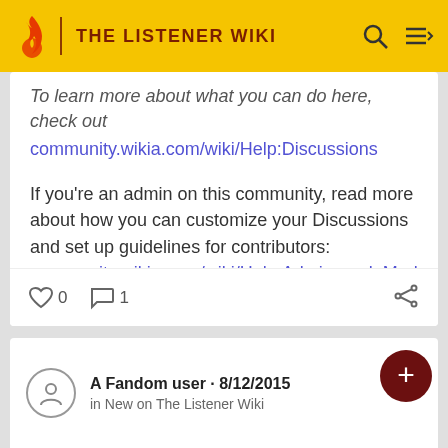THE LISTENER WIKI
To learn more about what you can do here, check out community.wikia.com/wiki/Help:Discussions
If you're an admin on this community, read more about how you can customize your Discussions and set up guidelines for contributors: community.wikia.com/wiki/Help:Admin_and_Moderator_Tools_in_Discussions
Have fun!
0  1
A Fandom user · 8/12/2015
in New on The Listener Wiki